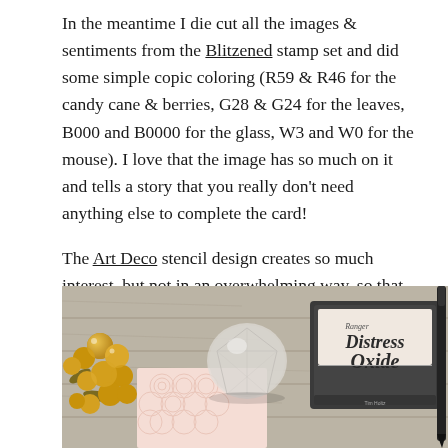In the meantime I die cut all the images & sentiments from the Blitzened stamp set and did some simple copic coloring (R59 & R46 for the candy cane & berries, G28 & G24 for the leaves, B000 and B0000 for the glass, W3 and W0 for the mouse). I love that the image has so much on it and tells a story that you really don't need anything else to complete the card!
The Art Deco stencil design creates so much interest, but not in an overwhelming way, so that you eyes move all over the card, but the focal point still clearly remains on the mouse.
[Figure (photo): Photo of craft supplies on a wooden background: gold glitter berries on the left, a clear glass gem/crystal, a Ranger Distress Oxide ink pad, a black pen or stylus, and a pink stenciled card visible in the lower left.]